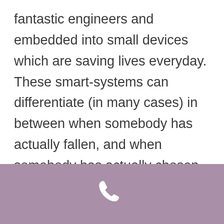fantastic engineers and embedded into small devices which are saving lives everyday. These smart-systems can differentiate (in many cases) in between when somebody has actually fallen, and when somebody has actually chosen to sit down suddenly.|The finest Medical alert systems have come a long method in the last 5 years. Today's sophisticated systems can find when a user has actually fallen automatically.}
[Figure (illustration): White telephone/phone handset icon centered on a muted purple/mauve colored footer bar]